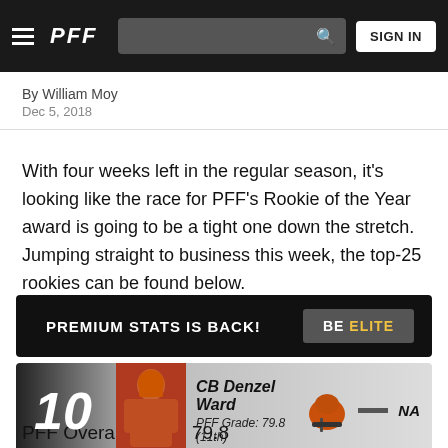PFF — SIGN IN
By William Moy
Dec 5, 2018
With four weeks left in the regular season, it's looking like the race for PFF's Rookie of the Year award is going to be a tight one down the stretch. Jumping straight to business this week, the top-25 rookies can be found below.
[Figure (infographic): Black banner: 'PREMIUM STATS IS BACK!' with 'BE ELITE' button on right]
[Figure (infographic): Player card showing #10 CB Denzel Ward, PFF Grade: 79.8 (11th), Cleveland Browns logo, NA change indicator]
PFF Overall Grade: 79.8